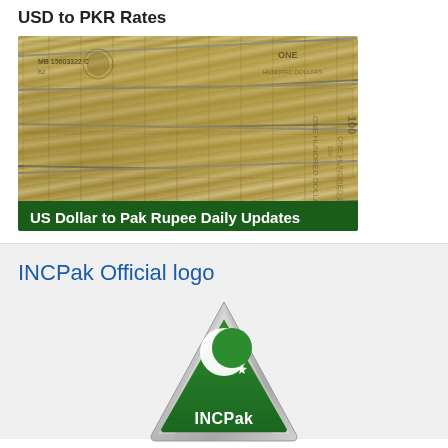USD to PKR Rates
[Figure (photo): Stack of US dollar bills photographed from above with a green banner overlay reading 'US Dollar to Pak Rupee Daily Updates']
US Dollar to Pak Rupee Daily Updates
INCPak Official logo
[Figure (logo): INCPak official logo: a silver triangular badge with a green triangle inside containing a white crescent moon and star symbol, with 'INCPak' text at the bottom in white]